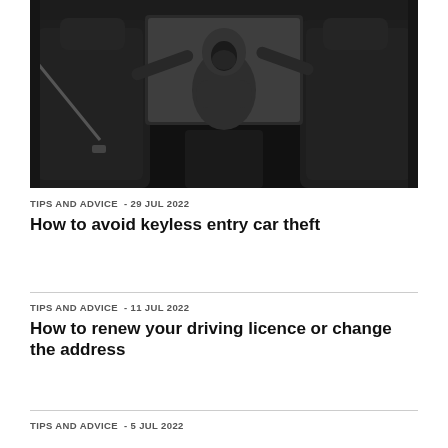[Figure (photo): Black and white photo of a hooded figure looking into a car from outside the window, shot from inside the car looking towards the rear window]
TIPS AND ADVICE  - 29 Jul 2022
How to avoid keyless entry car theft
TIPS AND ADVICE  - 11 Jul 2022
How to renew your driving licence or change the address
TIPS AND ADVICE  - 5 Jul 2022